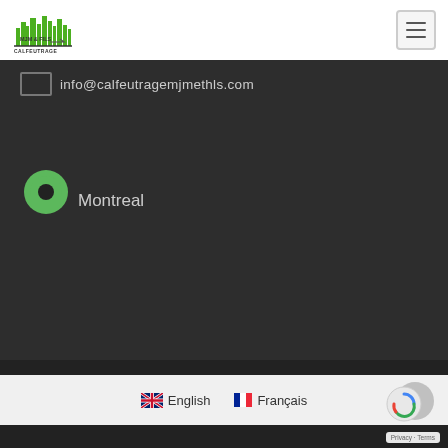[Figure (logo): Calfeutrage MJM & Fils company logo with green city skyline graphic]
info@calfeutragemjmethls.com
Montreal
COPYRIGHT 2019 © CALFEUTRAGE MJM & FILS | TOUS DROITS RÉSERVÉS / ALL RIGHTS RESERVED
English   Français